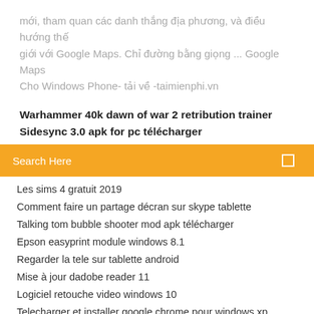mới, tham quan các danh thắng địa phương, và điều hướng thế giới với Google Maps. Chỉ đường bằng giọng ... Google Maps Cho Windows Phone- tải về -taimienphi.vn
Warhammer 40k dawn of war 2 retribution trainer
Sidesync 3.0 apk for pc télécharger
Search Here
Les sims 4 gratuit 2019
Comment faire un partage décran sur skype tablette
Talking tom bubble shooter mod apk télécharger
Epson easyprint module windows 8.1
Regarder la tele sur tablette android
Mise à jour dadobe reader 11
Logiciel retouche video windows 10
Telecharger et installer google chrome pour windows xp
Football manager 2019 sur macbook air
Convertir un fichier word en pdf youtube
Application pour lire dvd windows 10